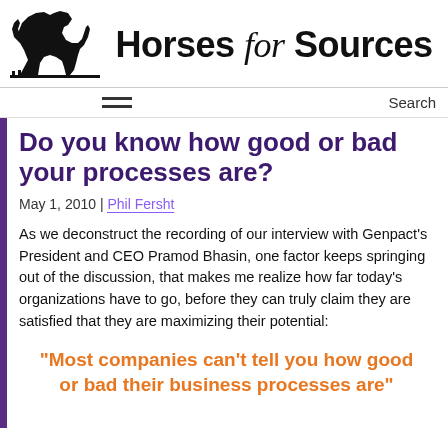[Figure (logo): Horses for Sources logo with black horse silhouette and site name]
Do you know how good or bad your processes are?
May 1, 2010 | Phil Fersht
As we deconstruct the recording of our interview with Genpact's President and CEO Pramod Bhasin, one factor keeps springing out of the discussion, that makes me realize how far today's organizations have to go, before they can truly claim they are satisfied that they are maximizing their potential:
“Most companies can’t tell you how good or bad their business processes are”